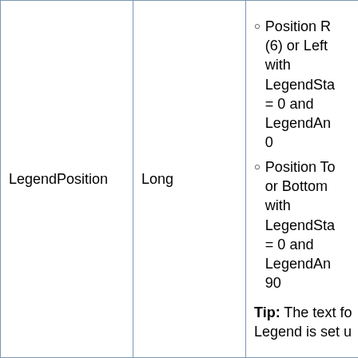| LegendPosition | Long | Position Right (6) or Left with LegendSta = 0 and LegendAn 0
Position To or Bottom with LegendSta = 0 and LegendAn 90
Tip: The text fo Legend is set u |